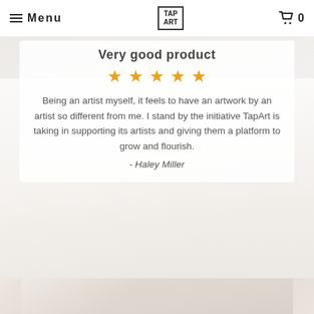Menu | TAP ART | 0
Very good product
Being an artist myself, it feels to have an artwork by an artist so different from me. I stand by the initiative TapArt is taking in supporting its artists and giving them a platform to grow and flourish.
- Haley Miller
[Figure (photo): Background lifestyle photo showing interior/room setting, partially visible behind white overlay]
[Figure (photo): Bottom portion of lifestyle/room photo below the review card]